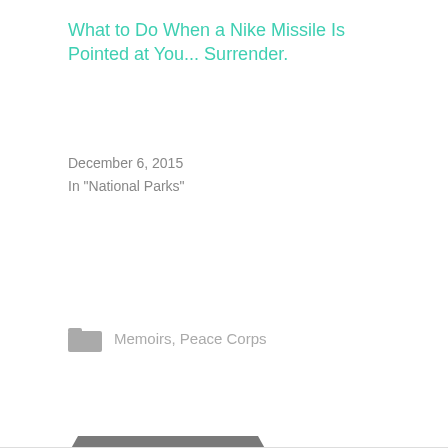What to Do When a Nike Missile Is Pointed at You... Surrender.
December 6, 2015
In "National Parks"
Memoirs, Peace Corps
BLOG-A-BOOK
EARLY ENVIRONMENTAL ACTIVISM
SIERRA COLLEGE
THE BUSH DEVIL ATE SAM
THE CUBAN MISSILE CRISIS